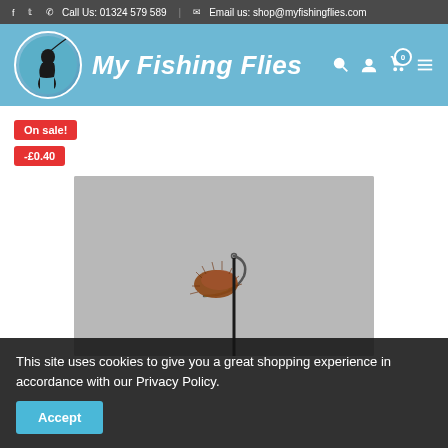f  tw  | Call Us: 01324 579 589  | Email us: shop@myfishingflies.com
My Fishing Flies
On sale!
-£0.40
[Figure (photo): Close-up photo of a fishing fly (artificial lure) with brown fluffy body and metallic hook, on a grey background]
This site uses cookies to give you a great shopping experience in accordance with our Privacy Policy.
Accept